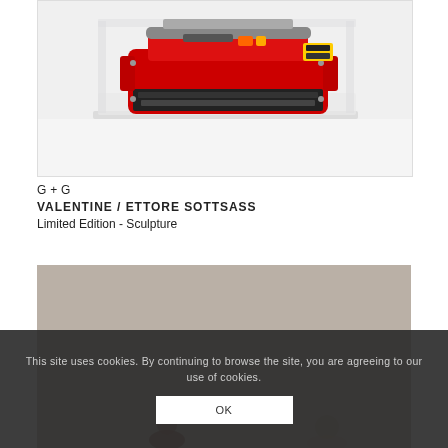[Figure (photo): Red Olivetti Valentine typewriter in a clear acrylic display case on a white surface]
G + G
VALENTINE / ETTORE SOTTSASS
Limited Edition - Sculpture
[Figure (photo): Partial view of another product on a gray-beige background with small figurines visible at bottom]
This site uses cookies. By continuing to browse the site, you are agreeing to our use of cookies.
OK